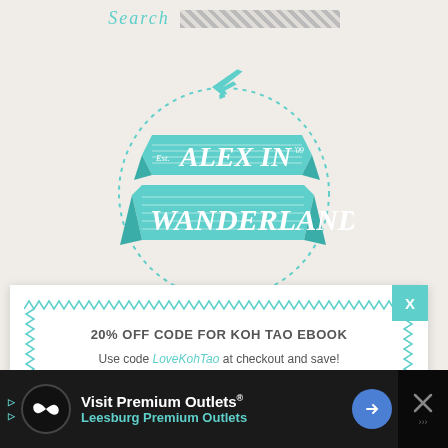Search
[Figure (logo): Alex in Wanderland travel blog logo with teal ribbon banner, airplane silhouette and dotted circle border]
20% OFF CODE FOR KOH TAO EBOOK
Use code LoveKohTao at checkout and save!
[Figure (infographic): Advertisement banner: Visit Premium Outlets® Leesburg Premium Outlets with infinity logo, navigation arrow icon, and close button]